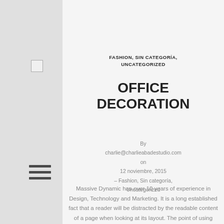[Figure (logo): Small broken image placeholder icon in left sidebar]
[Figure (other): Hamburger menu icon (three horizontal lines) in left sidebar]
FASHION, SIN CATEGORÍA, UNCATEGORIZED
OFFICE DECORATION
By charlie@charlieabadestudio.com on 12 noviembre, 2015 – Fashion, Sin categoría, Uncategorized
Massive Dynamic has over 10 years of experience in Design, Technology and Marketing. It is a long established fact that a reader will be distracted by the readable content of a page when looking at its layout. The point of using Lorem